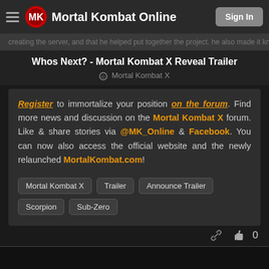Mortal Kombat Online | Sign In
Whos Next? - Mortal Kombat X Reveal Trailer
Mortal Kombat X
Register to immortalize your position on the forum. Find more news and discussion on the Mortal Kombat X forum. Like & share stories via @MK_Online & Facebook. You can now also access the official website and the newly relaunched MortalKombat.com!
Mortal Kombat X
Trailer
Announce Trailer
Scorpion
Sub-Zero